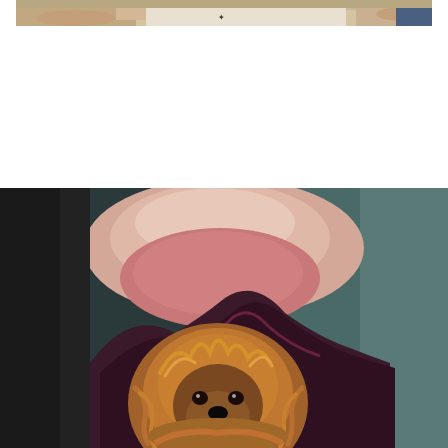[Figure (photo): Top portion of a photo showing people's hands around a table with documents or artwork, partially cropped]
[Figure (photo): Close-up photo of a detailed color tattoo on someone's arm showing a realistic portrait of a small dog (Shih Tzu or similar breed) with golden/orange fur and a dark purple/maroon mountain or shadow shape behind it, set against a blurred teal/dark background]